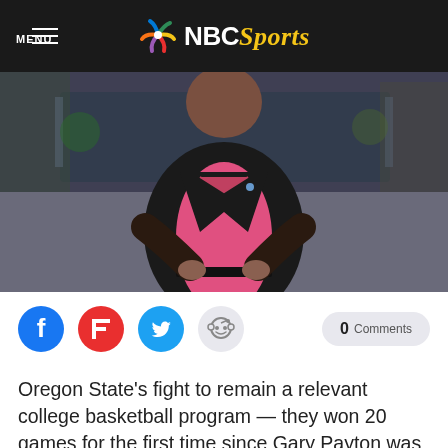NBC Sports
[Figure (photo): Basketball coach standing with hands on hips, wearing a pink shirt and dark blazer, on a basketball court sideline]
[Figure (infographic): Social sharing icons: Facebook, Flipboard, Twitter, Reddit; and a comment count showing 0 Comments]
Oregon State's fight to remain a relevant college basketball program — they won 20 games for the first time since Gary Payton was on campus this past season — will continue on June 21st as the school will break ground on a new basketball practice facility